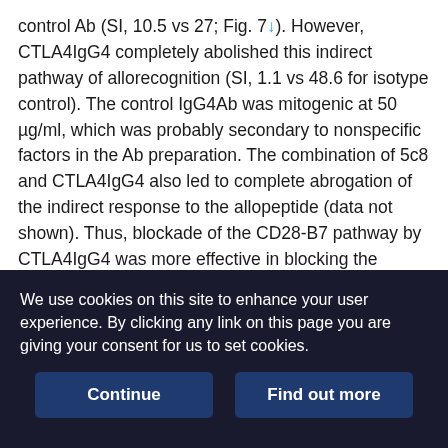control Ab (SI, 10.5 vs 27; Fig. 7↓). However, CTLA4IgG4 completely abolished this indirect pathway of allorecognition (SI, 1.1 vs 48.6 for isotype control). The control IgG4Ab was mitogenic at 50 µg/ml, which was probably secondary to nonspecific factors in the Ab preparation. The combination of 5c8 and CTLA4IgG4 also led to complete abrogation of the indirect response to the allopeptide (data not shown). Thus, blockade of the CD28-B7 pathway by CTLA4IgG4 was more effective in blocking the indirect pathway of allorecognition in swine than blockade of the CD40-CD154 pathway by 5c8. CTLA4IgG4 was also more effective than 5c8 in inhibiting a secondary direct alloresponse. Lymphocytes from a pig primed with a class II-disparate skin graft did not proliferate in vitro against donor cells in the presence of
We use cookies on this site to enhance your user experience. By clicking any link on this page you are giving your consent for us to set cookies.